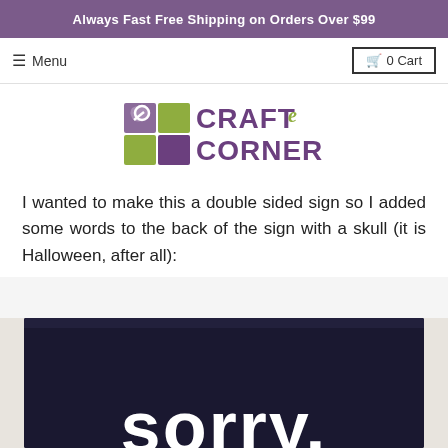Always Fast Free Shipping on Orders Over $99
[Figure (logo): Craft e Corner logo with green and purple squares and stylized text]
I wanted to make this a double sided sign so I added some words to the back of the sign with a skull (it is Halloween, after all):
[Figure (photo): Black sign with white bold text reading 'sorry,' in large rounded font]